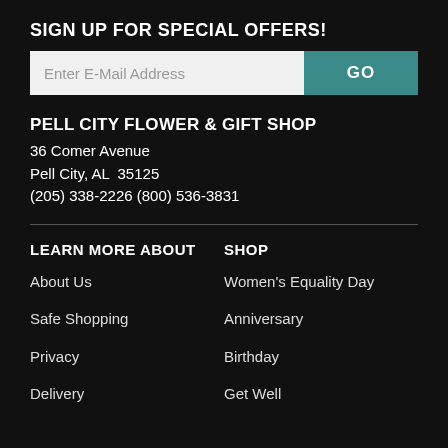SIGN UP FOR SPECIAL OFFERS!
Enter E-Mail Address  GO
PELL CITY FLOWER & GIFT SHOP
36 Comer Avenue
Pell City, AL  35125
(205) 338-2226 (800) 536-3831
LEARN MORE ABOUT
SHOP
About Us
Women's Equality Day
Safe Shopping
Anniversary
Privacy
Birthday
Delivery
Get Well